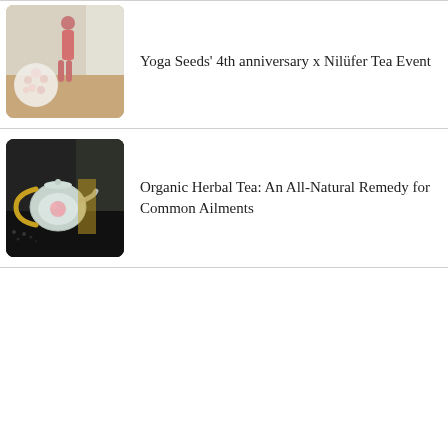[Figure (photo): Person doing yoga in a bright studio room with a floral arrangement in the foreground]
Yoga Seeds' 4th anniversary x Nilüfer Tea Event
[Figure (photo): Glass teapot with a gold handle containing herbal tea with flower petals, on a dark table with scattered tea leaves]
Organic Herbal Tea: An All-Natural Remedy for Common Ailments